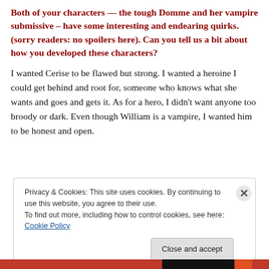Both of your characters — the tough Domme and her vampire submissive – have some interesting and endearing quirks. (sorry readers: no spoilers here). Can you tell us a bit about how you developed these characters?
I wanted Cerise to be flawed but strong. I wanted a heroine I could get behind and root for, someone who knows what she wants and goes and gets it. As for a hero, I didn't want anyone too broody or dark. Even though William is a vampire, I wanted him to be honest and open.
Privacy & Cookies: This site uses cookies. By continuing to use this website, you agree to their use.
To find out more, including how to control cookies, see here: Cookie Policy